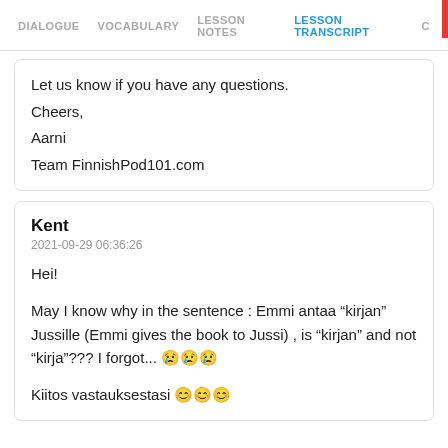DIALOGUE  VOCABULARY  LESSON NOTES  LESSON TRANSCRIPT  C
Let us know if you have any questions.
Cheers,
Aarni
Team FinnishPod101.com
Kent
2021-09-29 06:36:26
Hei!

May I know why in the sentence : Emmi antaa "kirjan" Jussille (Emmi gives the book to Jussi) , is "kirjan" and not "kirja"??? I forgot... 😢😢😢

Kiitos vastauksestasi 😊😊😊